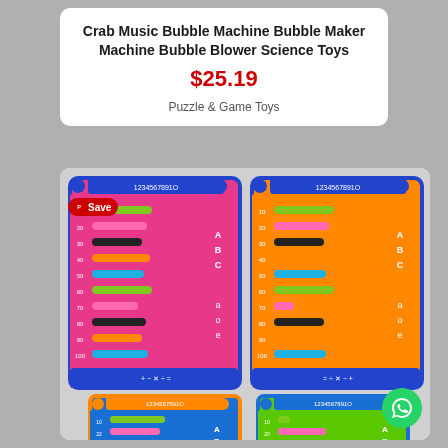Crab Music Bubble Machine Bubble Maker Machine Bubble Blower Science Toys
$25.19
Puzzle & Game Toys
[Figure (photo): Four colorful abacus toys with numbered beads in pink, orange, blue, and green frames showing numbers 1-10 and letters ABC. A Pinterest Save badge is visible in the top-left corner of the image. A WhatsApp icon button is in the bottom-right.]